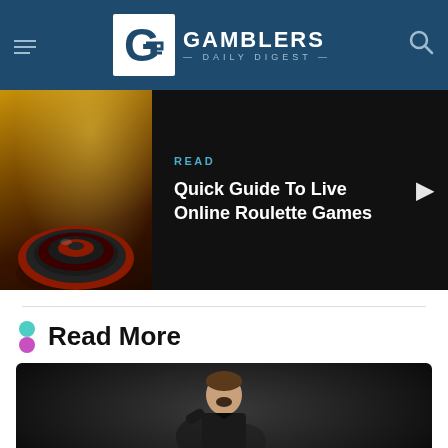GAMBLERS DAILY DIGEST
[Figure (screenshot): Featured article banner with roulette wheel image on left and article title on right dark background]
READ
Quick Guide To Live Online Roulette Games
Read More
[Figure (photo): Photo of a man in dark clothing with mouth open, appearing excited, against dark background]